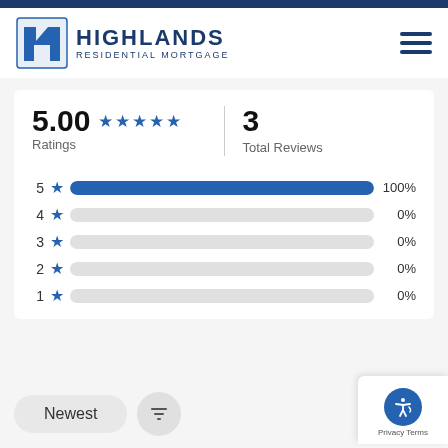[Figure (logo): Highlands Residential Mortgage logo with stylized H icon and company name]
5.00 ★★★★★ Ratings
3 Total Reviews
[Figure (bar-chart): Rating distribution]
Newest